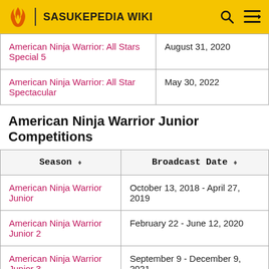SASUKEPEDIA WIKI
| Season | Broadcast Date |
| --- | --- |
| American Ninja Warrior: All Stars Special 5 | August 31, 2020 |
| American Ninja Warrior: All Star Spectacular | May 30, 2022 |
American Ninja Warrior Junior Competitions
| Season | Broadcast Date |
| --- | --- |
| American Ninja Warrior Junior | October 13, 2018 - April 27, 2019 |
| American Ninja Warrior Junior 2 | February 22 - June 12, 2020 |
| American Ninja Warrior Junior 3 | September 9 - December 9, 2021 |